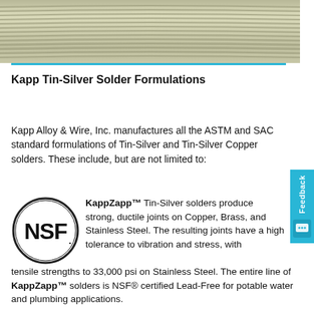[Figure (photo): Coil of tin-silver solder wire, metallic silver-gold color, viewed from above showing the wound wire texture]
Kapp Tin-Silver Solder Formulations
Kapp Alloy & Wire, Inc. manufactures all the ASTM and SAC standard formulations of Tin-Silver and Tin-Silver Copper solders. These include, but are not limited to:
[Figure (logo): NSF certification logo — circle with NSF text in bold inside]
KappZapp™ Tin-Silver solders produce strong, ductile joints on Copper, Brass, and Stainless Steel. The resulting joints have a high tolerance to vibration and stress, with tensile strengths to 33,000 psi on Stainless Steel. The entire line of KappZapp™ solders is NSF® certified Lead-Free for potable water and plumbing applications.